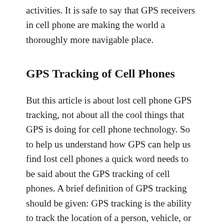activities. It is safe to say that GPS receivers in cell phone are making the world a thoroughly more navigable place.
GPS Tracking of Cell Phones
But this article is about lost cell phone GPS tracking, not about all the cool things that GPS is doing for cell phone technology. So to help us understand how GPS can help us find lost cell phones a quick word needs to be said about the GPS tracking of cell phones. A brief definition of GPS tracking should be given: GPS tracking is the ability to track the location of a person, vehicle, or object as it moves throughout the world. There are two types of GPS tracking, passive and active. Active tracking occurs in real time and lets you find out where something is right now. Passive GPS tracking has to do with